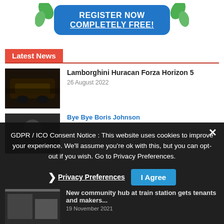[Figure (illustration): Blue rounded button with green leaf decorations on both sides. Text reads REGISTER NOW COMPLETELY FREE! in white bold uppercase letters.]
Latest News
[Figure (photo): Thumbnail of Lamborghini Huracan Forza Horizon 5 - dark colored car]
Lamborghini Huracan Forza Horizon 5
26 August 2022
[Figure (photo): Thumbnail of Boris Johnson news article]
Bye Bye Boris Johnson
[Figure (photo): Thumbnail of community hub at train station article]
New community hub at train station gets tenants and makers...
19 November 2021
GDPR / ICO Consent Notice : This website uses cookies to improve your experience. We'll assume you're ok with this, but you can opt-out if you wish. Go to Privacy Preferences.
Privacy Preferences
I Agree